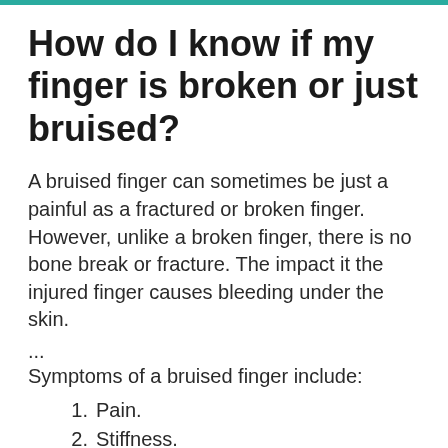How do I know if my finger is broken or just bruised?
A bruised finger can sometimes be just a painful as a fractured or broken finger. However, unlike a broken finger, there is no bone break or fracture. The impact it the injured finger causes bleeding under the skin.
...
Symptoms of a bruised finger include:
Pain.
Stiffness.
Swelling.
Discoloration.
Loss of finger mobility.